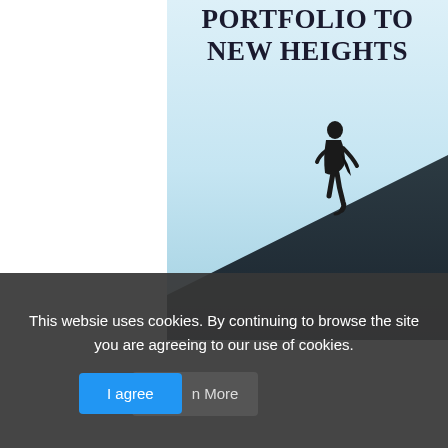[Figure (illustration): Book cover showing a silhouette of a person hiking up a steep dark hill against a light blue sky background, with bold serif title text 'PORTFOLIO TO NEW HEIGHTS' at the top]
This websie uses cookies. By continuing to browse the site you are agreeing to our use of cookies.
I agree
n More